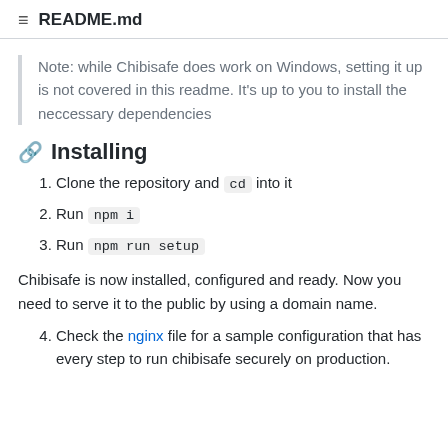README.md
Note: while Chibisafe does work on Windows, setting it up is not covered in this readme. It's up to you to install the neccessary dependencies
Installing
Clone the repository and cd into it
Run npm i
Run npm run setup
Chibisafe is now installed, configured and ready. Now you need to serve it to the public by using a domain name.
Check the nginx file for a sample configuration that has every step to run chibisafe securely on production.